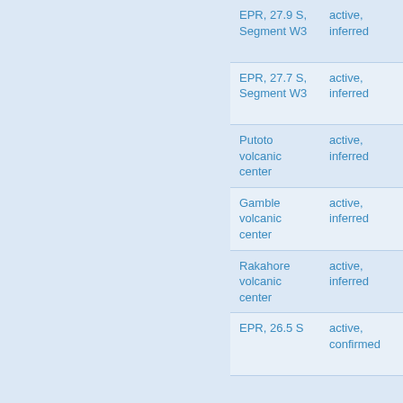| Name | Status | Type |
| --- | --- | --- |
| EPR, 27.9 S, Segment W3 | active, inferred | mid-ocean ridge |
| EPR, 27.7 S, Segment W3 | active, inferred | mid-ocean ridge |
| Putoto volcanic center | active, inferred | arc volcan... |
| Gamble volcanic center | active, inferred | arc volcan... |
| Rakahore volcanic center | active, inferred | arc volcan... |
| EPR, 26.5 S | active, confirmed | mid-ocean ridge |